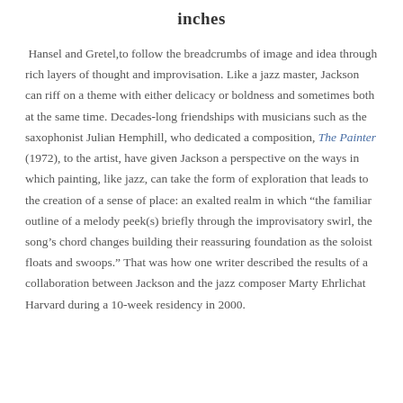inches
Hansel and Gretel,to follow the breadcrumbs of image and idea through rich layers of thought and improvisation. Like a jazz master, Jackson can riff on a theme with either delicacy or boldness and sometimes both at the same time. Decades-long friendships with musicians such as the saxophonist Julian Hemphill, who dedicated a composition, The Painter (1972), to the artist, have given Jackson a perspective on the ways in which painting, like jazz, can take the form of exploration that leads to the creation of a sense of place: an exalted realm in which “the familiar outline of a melody peek(s) briefly through the improvisatory swirl, the song’s chord changes building their reassuring foundation as the soloist floats and swoops.” That was how one writer described the results of a collaboration between Jackson and the jazz composer Marty Ehrlichat Harvard during a 10-week residency in 2000.